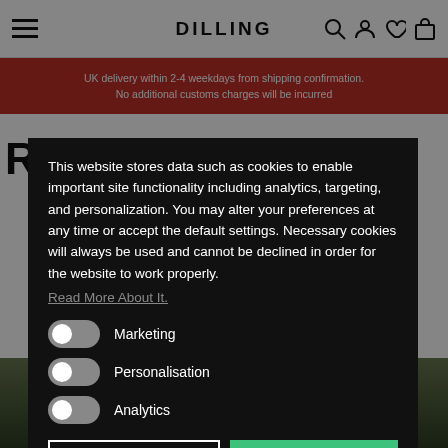DILLING
UK delivery within 2-4 weekdays from shipping confirmation. No additional customs charges will be incurred
This website stores data such as cookies to enable important site functionality including analytics, targeting, and personalization. You may alter your preferences at any time or accept the default settings. Necessary cookies will always be used and cannot be declined in order for the website to work properly.
Read More About It.
Marketing
Personalisation
Analytics